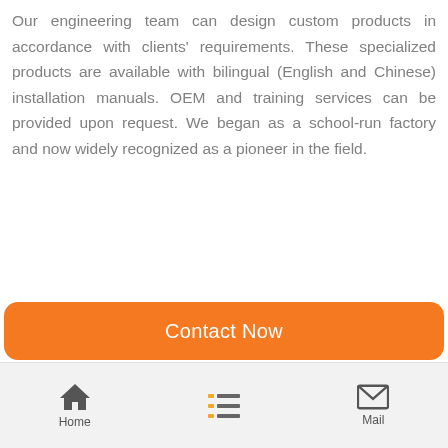Our engineering team can design custom products in accordance with clients' requirements. These specialized products are available with bilingual (English and Chinese) installation manuals. OEM and training services can be provided upon request. We began as a school-run factory and now widely recognized as a pioneer in the field.
Contact Now
Home | [list icon] | Mail